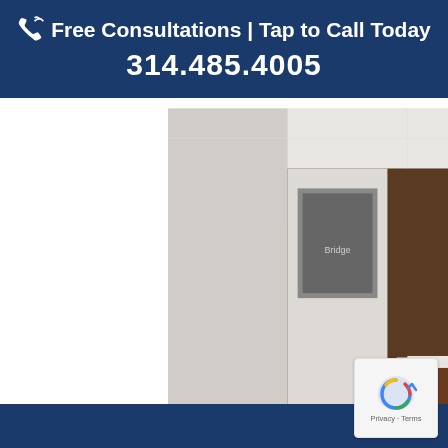📞 Free Consultations | Tap to Call Today
314.485.4005
[Figure (photo): Interior photo of a modern law office reception area showing a Cantor firm front desk with wood paneling, circular overhead light fixture, seating area with chairs, and clean white tile floors.]
[Figure (logo): reCAPTCHA badge with 'Privacy - Terms' text]